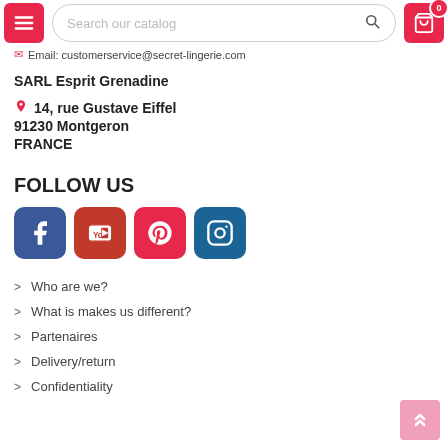Search our catalog
Email: customerservice@secret-lingerie.com
SARL Esprit Grenadine
14, rue Gustave Eiffel
91230 Montgeron
FRANCE
FOLLOW US
[Figure (logo): Social media icons: Facebook, YouTube, Pinterest, Instagram]
Who are we?
What is makes us different?
Partenaires
Delivery/return
Confidentiality